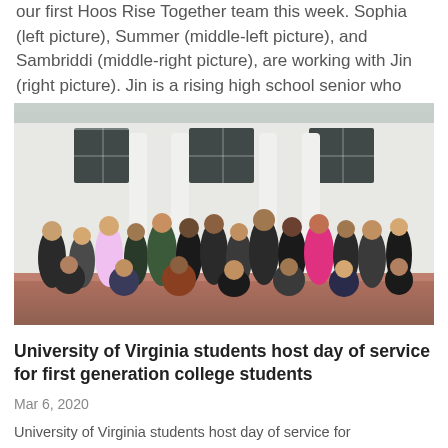our first Hoos Rise Together team this week. Sophia (left picture), Summer (middle-left picture), and Sambriddi (middle-right picture), are working with Jin (right picture). Jin is a rising high school senior who is...
[Figure (photo): Group photo of approximately 40 students posing together in front of a white columned building, taken outdoors]
University of Virginia students host day of service for first generation college students
Mar 6, 2020
University of Virginia students host day of service for